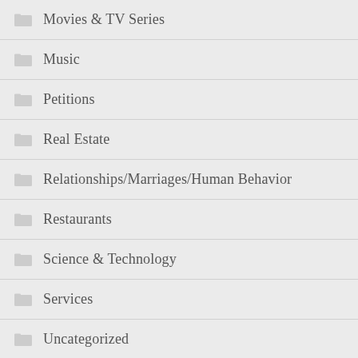Movies & TV Series
Music
Petitions
Real Estate
Relationships/Marriages/Human Behavior
Restaurants
Science & Technology
Services
Uncategorized
Vehicles